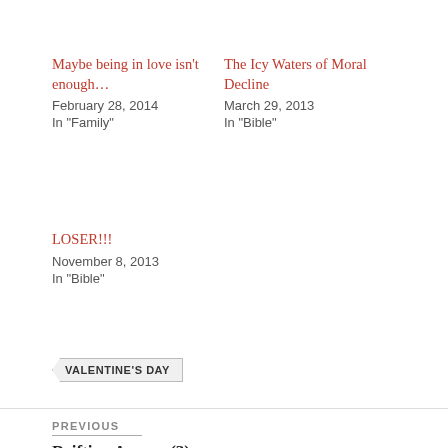Maybe being in love isn't enough…
February 28, 2014
In "Family"
The Icy Waters of Moral Decline
March 29, 2013
In "Bible"
LOSER!!!
November 8, 2013
In "Bible"
VALENTINE'S DAY
PREVIOUS
Drifting Away... (3)